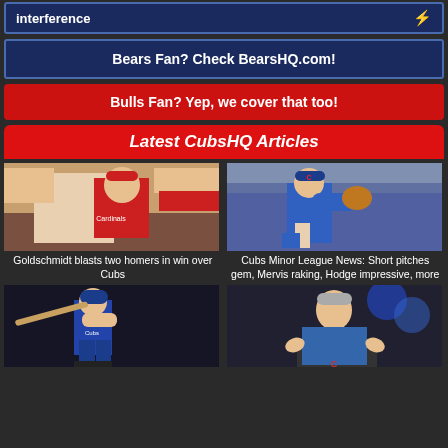interference
Bears Fan? Check BearsHQ.com!
Bulls Fan? Yep, we cover that too!
Latest CubsHQ Articles
[Figure (photo): Baseball player in Cardinals uniform getting high fives in dugout]
Goldschmidt blasts two homers in win over Cubs
[Figure (photo): Cubs pitcher in blue uniform and cap in pitching motion]
Cubs Minor League News: Short pitches gem, Mervis raking, Hodge impressive, more
[Figure (photo): Cubs batter swinging at night game]
[Figure (photo): Older man in blue jacket speaking at podium with Cubs logo visible]